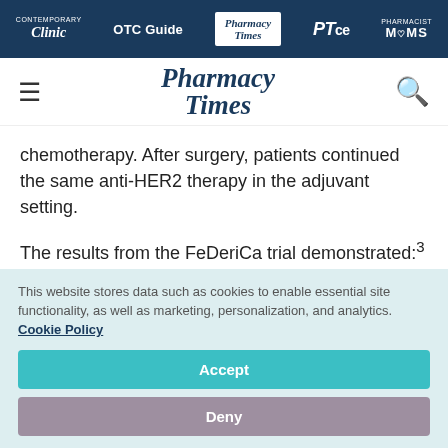Clinic | OTC Guide | Pharmacy Times | PTce | PHARMACIST MOMS
[Figure (logo): Pharmacy Times logo with hamburger menu and search icon]
chemotherapy. After surgery, patients continued the same anti-HER2 therapy in the adjuvant setting.
The results from the FeDeriCa trial demonstrated:³
This website stores data such as cookies to enable essential site functionality, as well as marketing, personalization, and analytics. Cookie Policy
Accept
Deny